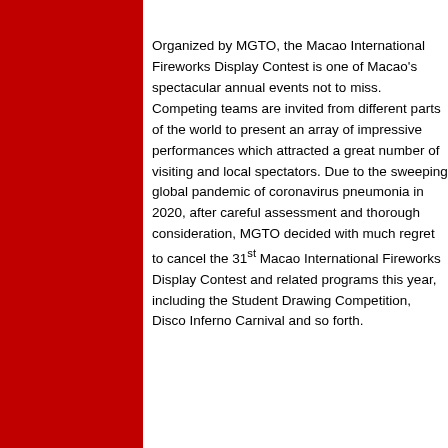Organized by MGTO, the Macao International Fireworks Display Contest is one of Macao's spectacular annual events not to miss. Competing teams are invited from different parts of the world to present an array of impressive performances which attracted a great number of visiting and local spectators. Due to the sweeping global pandemic of coronavirus pneumonia in 2020, after careful assessment and thorough consideration, MGTO decided with much regret to cancel the 31st Macao International Fireworks Display Contest and related programs this year, including the Student Drawing Competition, Disco Inferno Carnival and so forth.